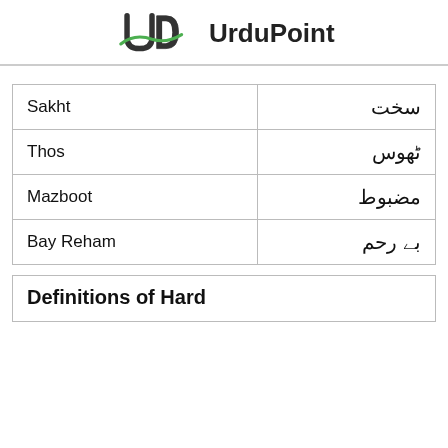UrduPoint
| English | Urdu |
| --- | --- |
| Sakht | سخت |
| Thos | ٹھوس |
| Mazboot | مضبوط |
| Bay Reham | بے رحم |
Definitions of Hard
definitions text content